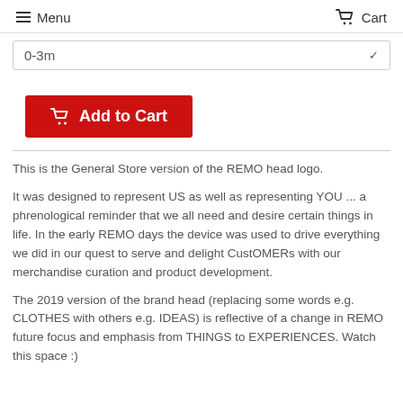Menu  Cart
0-3m
[Figure (other): Add to Cart button (red background, cart icon, white bold text)]
This is the General Store version of the REMO head logo.
It was designed to represent US as well as representing YOU ... a phrenological reminder that we all need and desire certain things in life. In the early REMO days the device was used to drive everything we did in our quest to serve and delight CustOMERs with our merchandise curation and product development.
The 2019 version of the brand head (replacing some words e.g. CLOTHES with others e.g. IDEAS) is reflective of a change in REMO future focus and emphasis from THINGS to EXPERIENCES. Watch this space :)